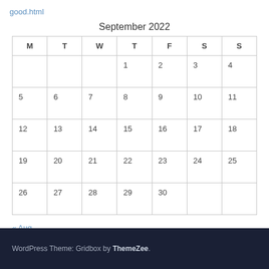good.html
September 2022
| M | T | W | T | F | S | S |
| --- | --- | --- | --- | --- | --- | --- |
|  |  |  | 1 | 2 | 3 | 4 |
| 5 | 6 | 7 | 8 | 9 | 10 | 11 |
| 12 | 13 | 14 | 15 | 16 | 17 | 18 |
| 19 | 20 | 21 | 22 | 23 | 24 | 25 |
| 26 | 27 | 28 | 29 | 30 |  |  |
« Aug
WordPress Theme: Gridbox by ThemeZee.